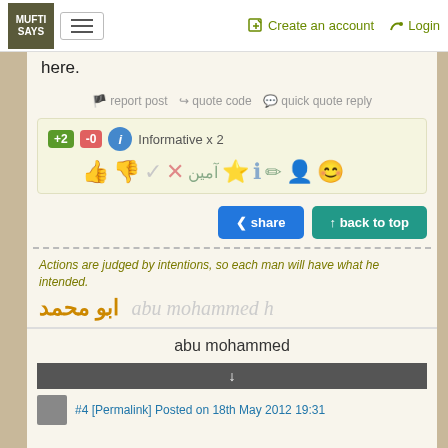MUFTI SAYS | Create an account | Login
now imagine Mohamed the word NOT here.
report post  quote code  quick quote reply
[Figure (other): Reaction badges: +2 (green), -0 (red), info icon (blue), label 'Informative x 2', and a row of reaction emoji icons (thumbs up, thumbs down, checkmark, X, Arabic text, star, info, pen, person face, emoji face)]
share  back to top
Actions are judged by intentions, so each man will have what he intended.
ابو محمد  abu mohammed h
abu mohammed
↓
#4 [Permalink] Posted on 18th May 2012 19:31